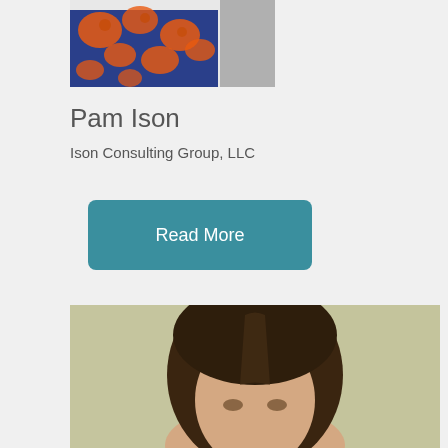[Figure (photo): Partial photo of a person wearing an orange and blue patterned dress, cropped at the top of the page]
Pam Ison
Ison Consulting Group, LLC
Read More
[Figure (photo): Portrait photo of a woman with long dark hair against a light olive/grey background, cropped showing head and upper shoulders]